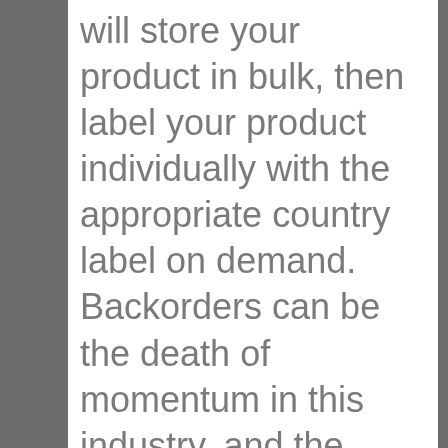will store your product in bulk, then label your product individually with the appropriate country label on demand. Backorders can be the death of momentum in this industry, and the amount of inventory that direct selling companies keep is much larger than other industries because of this fact. Accordingly, if you don't take advantage of regional distribution hubs, then you may find that the money you have tied up in huge inventories in every country